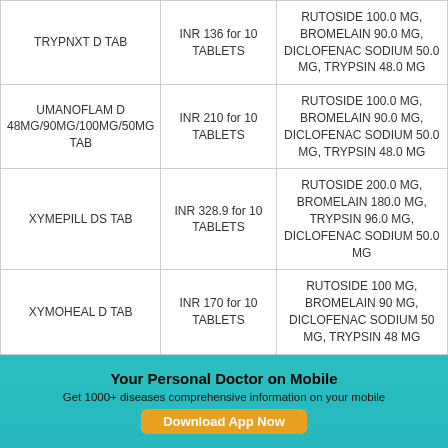| Drug Name | Price | Composition |
| --- | --- | --- |
| TRYPNXT D TAB | INR 136 for 10 TABLETS | RUTOSIDE 100.0 MG, BROMELAIN 90.0 MG, DICLOFENAC SODIUM 50.0 MG, TRYPSIN 48.0 MG |
| UMANOFLAM D 48MG/90MG/100MG/50MG TAB | INR 210 for 10 TABLETS | RUTOSIDE 100.0 MG, BROMELAIN 90.0 MG, DICLOFENAC SODIUM 50.0 MG, TRYPSIN 48.0 MG |
| XYMEPILL DS TAB | INR 328.9 for 10 TABLETS | RUTOSIDE 200.0 MG, BROMELAIN 180.0 MG, TRYPSIN 96.0 MG, DICLOFENAC SODIUM 50.0 MG |
| XYMOHEAL D TAB | INR 170 for 10 TABLETS | RUTOSIDE 100 MG, BROMELAIN 90 MG, DICLOFENAC SODIUM 50 MG, TRYPSIN 48 MG |
| ZYMOFLAM D |  | RUTOSIDE 100.0 MG, BROMELAIN 90.0 MG, ... |
Your Personal Doctor on Mobile
Get 1000+ diseases comprehensive information on your mobile
Download App Now